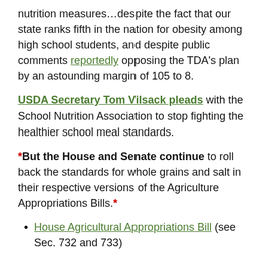nutrition measures…despite the fact that our state ranks fifth in the nation for obesity among high school students, and despite public comments reportedly opposing the TDA's plan by an astounding margin of 105 to 8.
USDA Secretary Tom Vilsack pleads with the School Nutrition Association to stop fighting the healthier school meal standards.
*But the House and Senate continue to roll back the standards for whole grains and salt in their respective versions of the Agriculture Appropriations Bills.*
House Agricultural Appropriations Bill (see Sec. 732 and 733)